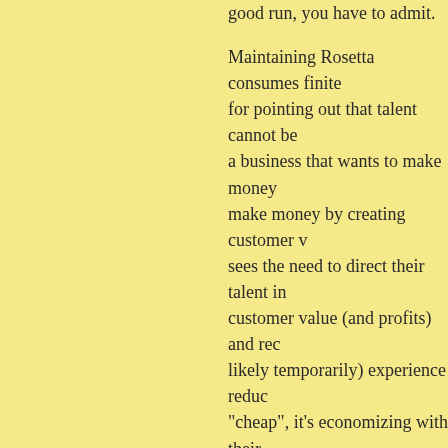good run, you have to admit.

Maintaining Rosetta consumes finite... for pointing out that talent cannot be... a business that wants to make money... make money by creating customer v... sees the need to direct their talent in... customer value (and profits) and rec... likely temporarily) experience reduc... "cheap", it's economizing with their... for Apple since about 1997.

As for virtualization of older Mac O... this but agree it would be a nice thin... changed their stance on issues like th... dissatisfaction has been expressed in... acknowledge the problem until they'... they even see it as a problem).
Posted by: Mark St. John | Wednesday, 29 February 2...